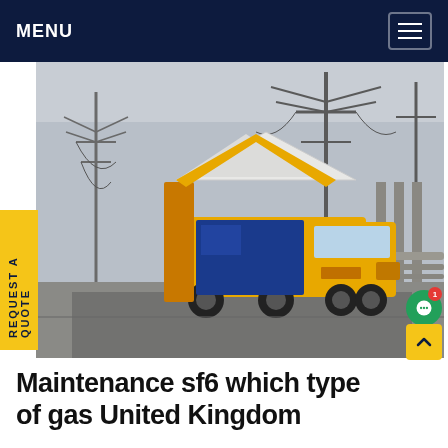MENU
[Figure (photo): Yellow ISUZU maintenance truck with open service compartment parked at an electrical substation with high-voltage transmission towers and equipment in the background. Overcast sky.]
REQUEST A QUOTE
Maintenance sf6 which type of gas United Kingdom